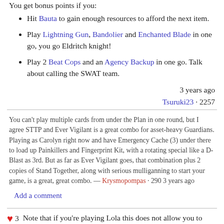You get bonus points if you:
Hit Bauta to gain enough resources to afford the next item.
Play Lightning Gun, Bandolier and Enchanted Blade in one go, you go Eldritch knight!
Play 2 Beat Cops and an Agency Backup in one go. Talk about calling the SWAT team.
3 years ago
Tsuruki23 · 2257
You can't play multiple cards from under the Plan in one round, but I agree STTP and Ever Vigilant is a great combo for asset-heavy Guardians. Playing as Carolyn right now and have Emergency Cache (3) under there to load up Painkillers and Fingerprint Kit, with a rotating special like a D-Blast as 3rd. But as far as Ever Vigilant goes, that combination plus 2 copies of Stand Together, along with serious mulliganning to start your game, is a great, great combo. — Krysmopompas · 290 3 years ago
Add a comment
Note that if you're playing Lola this does not allow you to play non-guardian cards while you are guardian. You